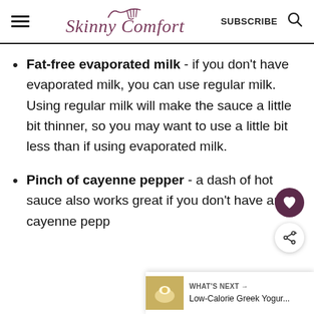Skinny Comfort — SUBSCRIBE
Fat-free evaporated milk - if you don't have evaporated milk, you can use regular milk. Using regular milk will make the sauce a little bit thinner, so you may want to use a little bit less than if using evaporated milk.
Pinch of cayenne pepper - a dash of hot sauce also works great if you don't have any cayenne pepp…